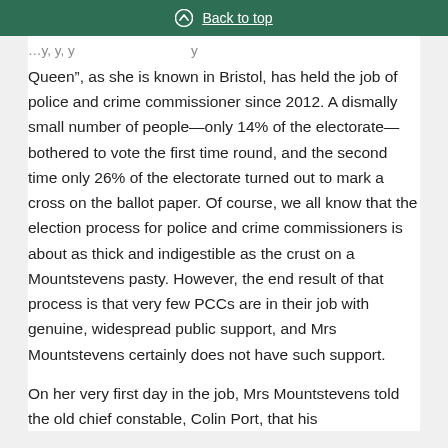Back to top
Queen”, as she is known in Bristol, has held the job of police and crime commissioner since 2012. A dismally small number of people—only 14% of the electorate—bothered to vote the first time round, and the second time only 26% of the electorate turned out to mark a cross on the ballot paper. Of course, we all know that the election process for police and crime commissioners is about as thick and indigestible as the crust on a Mountstevens pasty. However, the end result of that process is that very few PCCs are in their job with genuine, widespread public support, and Mrs Mountstevens certainly does not have such support.
On her very first day in the job, Mrs Mountstevens told the old chief constable, Colin Port, that his